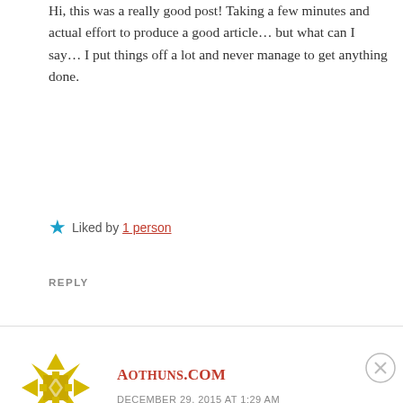Hi, this was a really good post! Taking a few minutes and actual effort to produce a good article… but what can I say… I put things off a lot and never manage to get anything done.
★ Liked by 1 person
REPLY
[Figure (logo): Yellow geometric star/flower logo for Aothuns.com]
AOTHUNS.COM
DECEMBER 29, 2015 AT 1:29 AM
Advertisements
[Figure (screenshot): Advertisement banner: Launch your online course with WordPress - Learn More button]